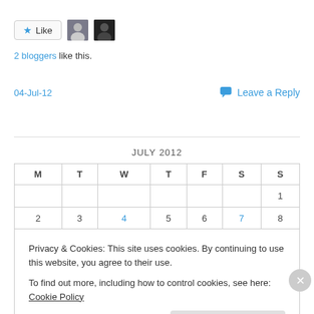[Figure (other): Like button with star icon and two blogger avatar thumbnails]
2 bloggers like this.
04-Jul-12    Leave a Reply
| M | T | W | T | F | S | S |
| --- | --- | --- | --- | --- | --- | --- |
|  |  |  |  |  |  | 1 |
| 2 | 3 | 4 | 5 | 6 | 7 | 8 |
Privacy & Cookies: This site uses cookies. By continuing to use this website, you agree to their use.
To find out more, including how to control cookies, see here: Cookie Policy
Close and accept